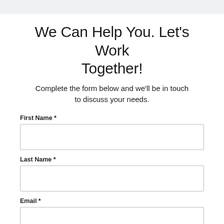We Can Help You. Let's Work Together!
Complete the form below and we'll be in touch to discuss your needs.
First Name *
Last Name *
Email *